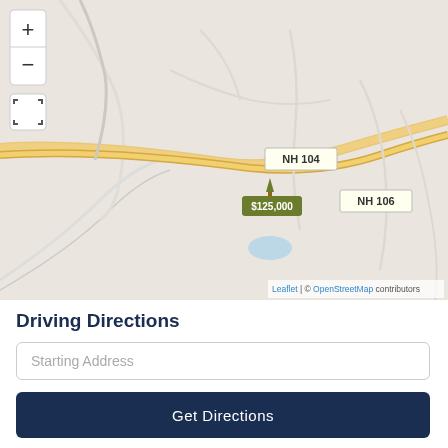[Figure (map): Interactive street map showing NH 104 and NH 106 roads near a property location marked with a tree icon and price tag $125,000. Map controls include zoom in/out buttons and a fullscreen button. Attribution reads Leaflet | © OpenStreetMap contributors.]
Driving Directions
Starting Address
Get Directions
[Figure (logo): Broker Reciprocity logo with house icon and text 'Broker sm Reciprocity', and NEREN MLS logo with blue arch graphic and text 'NEREN MLS New England Real Estate Network']